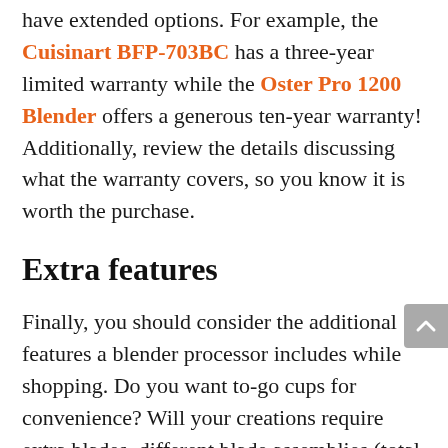have extended options. For example, the Cuisinart BFP-703BC has a three-year limited warranty while the Oster Pro 1200 Blender offers a generous ten-year warranty! Additionally, review the details discussing what the warranty covers, so you know it is worth the purchase.
Extra features
Finally, you should consider the additional features a blender processor includes while shopping. Do you want to-go cups for convenience? Will your creations require extra blades, different blade assemblies (total